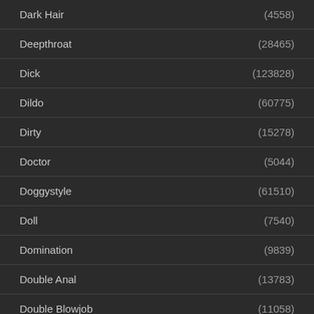Dark Hair (4558)
Deepthroat (28465)
Dick (123828)
Dildo (60775)
Dirty (15278)
Doctor (5044)
Doggystyle (61510)
Doll (7540)
Domination (9839)
Double Anal (13783)
Double Blowjob (11058)
Double Fucking (10391)